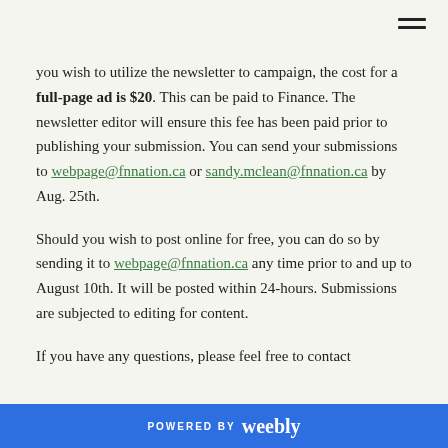you wish to utilize the newsletter to campaign, the cost for a full-page ad is $20. This can be paid to Finance. The newsletter editor will ensure this fee has been paid prior to publishing your submission. You can send your submissions to webpage@fnnation.ca or sandy.mclean@fnnation.ca by Aug. 25th.
Should you wish to post online for free, you can do so by sending it to webpage@fnnation.ca any time prior to and up to August 10th. It will be posted within 24-hours. Submissions are subjected to editing for content.
If you have any questions, please feel free to contact
POWERED BY weebly